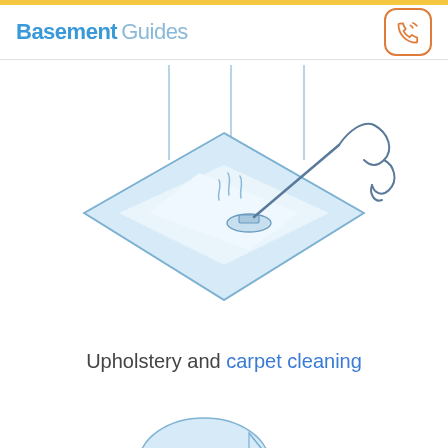Basement Guides
[Figure (illustration): Isometric illustration of a carpet being steam cleaned with a vacuum/steam cleaner wand. The carpet is shown in a diamond/isometric perspective with light blue color and a steam cleaning head pressing into it with vapor/steam wisps rising. The hose curves up and to the right.]
Upholstery and carpet cleaning
[Figure (illustration): Partial view of another illustration at the bottom of the page, showing the top of a circular/dome shape in light blue with a triangular element, partially cropped.]